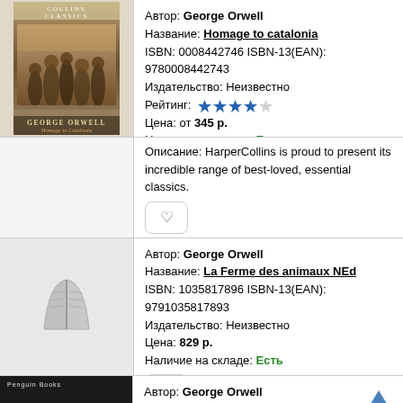[Figure (illustration): Book cover: Collins Classics - Homage to Catalonia by George Orwell, sepia photo of soldiers]
Автор: George Orwell
Название: Homage to catalonia
ISBN: 0008442746 ISBN-13(EAN): 9780008442743
Издательство: Неизвестно
Рейтинг: ★★★★
Цена: от 345 р.
Наличие на складе: Есть
Описание: HarperCollins is proud to present its incredible range of best-loved, essential classics.
[Figure (illustration): Placeholder book icon (gray open book) for La Ferme des animaux NEd]
Автор: George Orwell
Название: La Ferme des animaux NEd
ISBN: 1035817896 ISBN-13(EAN): 9791035817893
Издательство: Неизвестно
Цена: 829 р.
Наличие на складе: Есть
[Figure (photo): Partial book cover: dark/black cover with Penguin Books logo - Down and Out in Paris and London]
Автор: George Orwell
Название: Down and Out in Paris and London...